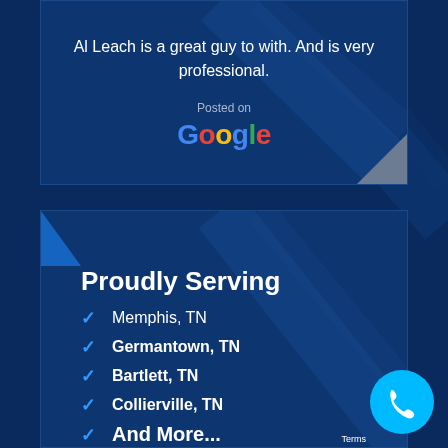Al Leach is a great guy to with. And is very professional.
Posted on
[Figure (logo): Google logo in multicolor text]
Proudly Serving
Memphis, TN
Germantown, TN
Bartlett, TN
Collierville, TN
And More...